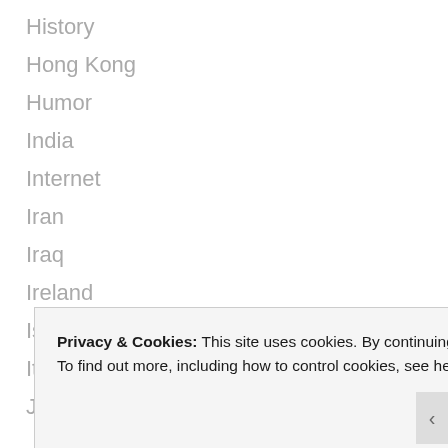History
Hong Kong
Humor
India
Internet
Iran
Iraq
Ireland
Israel
Italy
Japan
Privacy & Cookies: This site uses cookies. By continuing to use this website, you agree to their use.
To find out more, including how to control cookies, see here: Cookie Policy
Close and accept